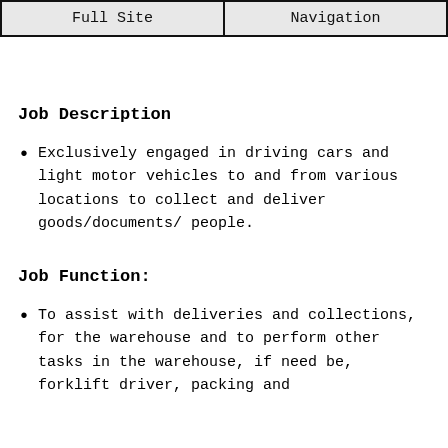Full Site | Navigation
Job Description
Exclusively engaged in driving cars and light motor vehicles to and from various locations to collect and deliver goods/documents/ people.
Job Function:
To assist with deliveries and collections, for the warehouse and to perform other tasks in the warehouse, if need be, forklift driver, packing and